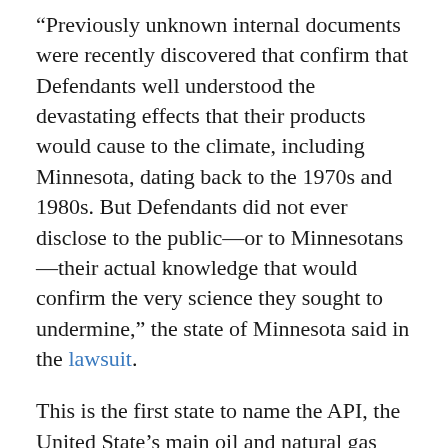“Previously unknown internal documents were recently discovered that confirm that Defendants well understood the devastating effects that their products would cause to the climate, including Minnesota, dating back to the 1970s and 1980s. But Defendants did not ever disclose to the public—or to Minnesotans—their actual knowledge that would confirm the very science they sought to undermine,” the state of Minnesota said in the lawsuit.
This is the first state to name the API, the United State’s main oil and natural gas lobbying group, as a defendant in a lawsuit. This lawsuit comes in a series of lawsuits from citizen